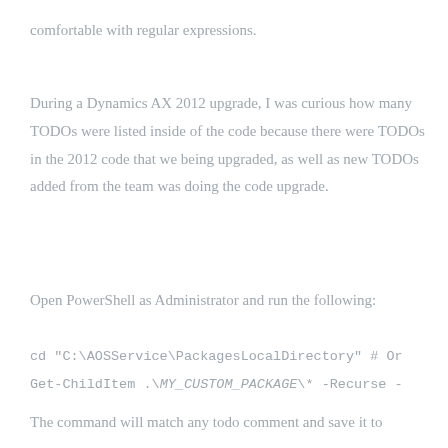comfortable with regular expressions.
During a Dynamics AX 2012 upgrade, I was curious how many TODOs were listed inside of the code because there were TODOs in the 2012 code that we being upgraded, as well as new TODOs added from the team was doing the code upgrade.
Open PowerShell as Administrator and run the following:
cd "C:\AOSService\PackagesLocalDirectory" # Or
Get-ChildItem .\MY_CUSTOM_PACKAGE\* -Recurse -
The command will match any todo comment and save it to